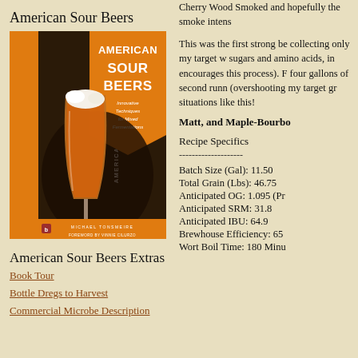American Sour Beers
[Figure (photo): Book cover of 'American Sour Beers' by Michael Tonsmeire with foreword by Vinnie Cilurzo, showing a tulip glass of amber beer with foam, orange banner with title, published by Brewers Publications]
American Sour Beers Extras
Book Tour
Bottle Dregs to Harvest
Commercial Microbe Description
Cherry Wood Smoked and hopefully the smoke intens
This was the first strong be collecting only my target w sugars and amino acids, in encourages this process). F four gallons of second runn (overshooting my target gr situations like this!
Matt, and Maple-Bourbo
Recipe Specifics
--------------------
Batch Size (Gal): 11.50
Total Grain (Lbs): 46.75
Anticipated OG: 1.095 (Pr
Anticipated SRM: 31.8
Anticipated IBU: 64.9
Brewhouse Efficiency: 65
Wort Boil Time: 180 Minu